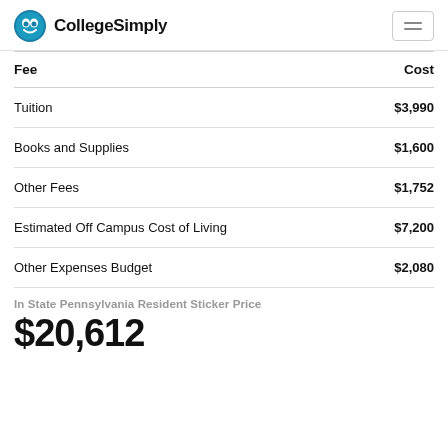CollegeSimply
| Fee | Cost |
| --- | --- |
| Tuition | $3,990 |
| Books and Supplies | $1,600 |
| Other Fees | $1,752 |
| Estimated Off Campus Cost of Living | $7,200 |
| Other Expenses Budget | $2,080 |
In State Pennsylvania Resident Sticker Price
$20,612